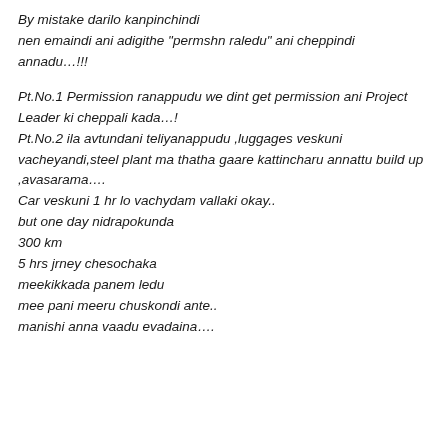By mistake darilo kanpinchindi
nen emaindi ani adigithe "permshn raledu" ani cheppindi annadu…!!!

Pt.No.1 Permission ranappudu we dint get permission ani Project Leader ki cheppali kada…!
Pt.No.2 ila avtundani teliyanappudu ,luggages veskuni vacheyandi,steel plant ma thatha gaare kattincharu annattu build up ,avasarama….
Car veskuni 1 hr lo vachydam vallaki okay..
but one day nidrapokunda
300 km
5 hrs jrney chesochaka
meekikkada panem ledu
mee pani meeru chuskondi ante..
manishi anna vaadu evadaina….